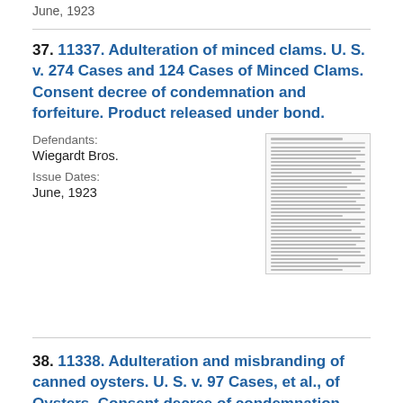June, 1923
37. 11337. Adulteration of minced clams. U. S. v. 274 Cases and 124 Cases of Minced Clams. Consent decree of condemnation and forfeiture. Product released under bond.
Defendants:
Wiegardt Bros.
Issue Dates:
June, 1923
[Figure (other): Thumbnail image of a document page with dense small text]
38. 11338. Adulteration and misbranding of canned oysters. U. S. v. 97 Cases, et al., of Oysters. Consent decree of condemnation and